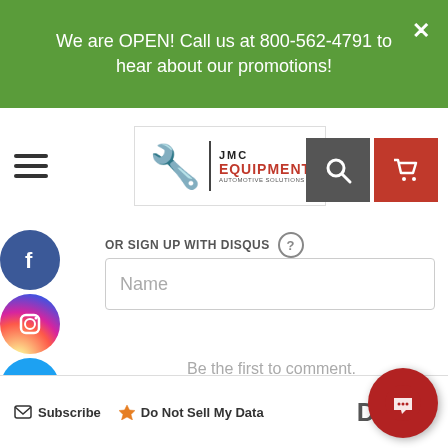We are OPEN! Call us at 800-562-4791 to hear about our promotions!
[Figure (logo): JMC Equipment automotive logo with mechanic figure]
OR SIGN UP WITH DISQUS ?
Name
Be the first to comment.
Subscribe  Do Not Sell My Data  DISQUS